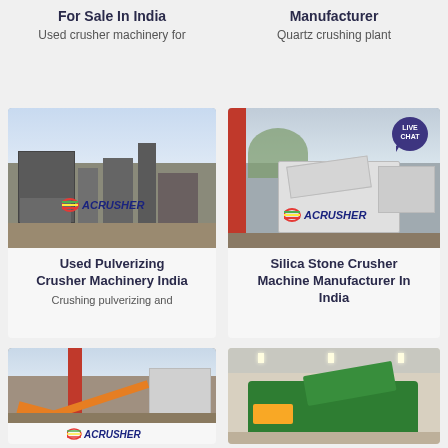For Sale In India
Used crusher machinery for
Manufacturer
Quartz crushing plant
[Figure (photo): Industrial crushing plant facility with large structures, ACRUSHER logo at bottom]
Used Pulverizing Crusher Machinery India
Crushing pulverizing and
[Figure (photo): Stone crusher machine equipment outdoors, ACRUSHER logo, with LIVE CHAT bubble]
Silica Stone Crusher Machine Manufacturer In India
[Figure (photo): Large industrial equipment with conveyor belts, ACRUSHER logo at bottom]
[Figure (photo): Green mobile crusher machine inside warehouse]